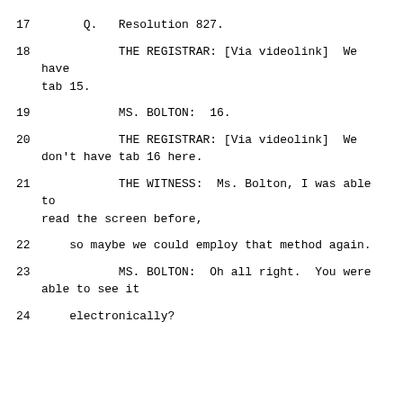17    Q.  Resolution 827.
18         THE REGISTRAR: [Via videolink]  We have tab 15.
19         MS. BOLTON:  16.
20         THE REGISTRAR: [Via videolink]  We don't have tab 16 here.
21         THE WITNESS:  Ms. Bolton, I was able to read the screen before,
22    so maybe we could employ that method again.
23         MS. BOLTON:  Oh all right.  You were able to see it
24    electronically?